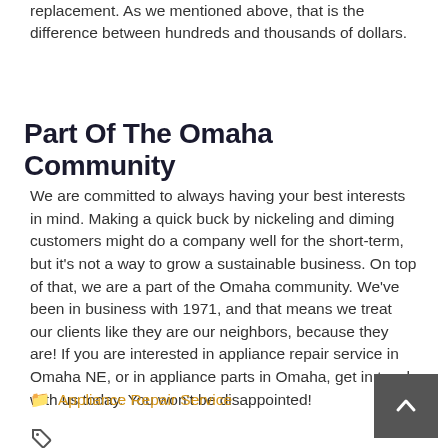replacement. As we mentioned above, that is the difference between hundreds and thousands of dollars.
Part Of The Omaha Community
We are committed to always having your best interests in mind. Making a quick buck by nickeling and diming customers might do a company well for the short-term, but it's not a way to grow a sustainable business. On top of that, we are a part of the Omaha community. We've been in business with 1971, and that means we treat our clients like they are our neighbors, because they are! If you are interested in appliance repair service in Omaha NE, or in appliance parts in Omaha, get in touch with us today. You won't be disappointed!
Appliance Repair Service